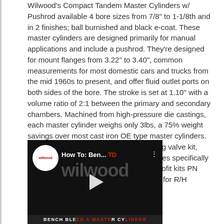Wilwood's Compact Tandem Master Cylinders w/ Pushrod available 4 bore sizes from 7/8" to 1-1/8th and in 2 finishes; ball burnished and black e-coat. These master cylinders are designed primarily for manual applications and include a pushrod. They're designed for mount flanges from 3.22" to 3.40", common measurements for most domestic cars and trucks from the mid 1960s to present, and offer fluid outlet ports on both sides of the bore. The stroke is set at 1.10" with a volume ratio of 2:1 between the primary and secondary chambers. Machined from high-pressure die castings, each master cylinder weighs only 3lbs, a 75% weight savings over most cast iron OE type master cylinders. We also offer a combination proportioning valve kit, which includes brackets and stainless lines specifically for use with this master cylinder, see retrofit kits PN 260-14248 for L/H outlets, or 260-15667 for R/H outlets.
[Figure (screenshot): Wilwood video thumbnail showing 'How To: Ben...' title over a dark background with Wilwood logo and brand watermark, with a play button in the center and 'BENCH BLEED A MASTER CYLINDER' text at the bottom.]